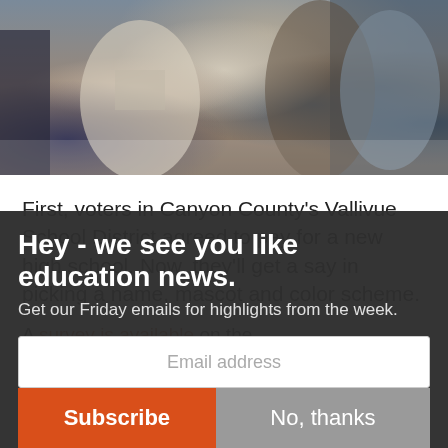[Figure (photo): Blurry crowd of people, appears to be students in a school or public setting, cropped to show torsos and heads]
First, voters in Canyon County's Vallivue School District agreed to pay for a new high school. Now, they'll get a say in picking a name, mascot and color scheme.
A survey is available on the
Hey - we see you like education news.
Get our Friday emails for highlights from the week.
Email address
Subscribe
No, thanks